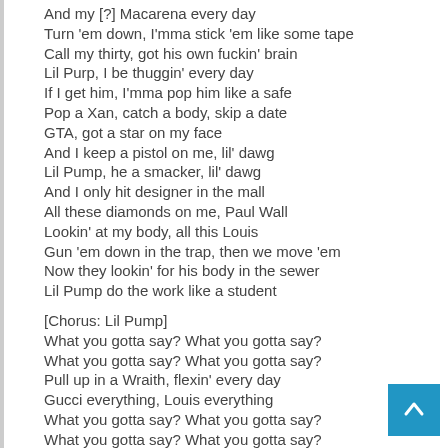And my [?] Macarena every day
Turn 'em down, I'mma stick 'em like some tape
Call my thirty, got his own fuckin' brain
Lil Purp, I be thuggin' every day
If I get him, I'mma pop him like a safe
Pop a Xan, catch a body, skip a date
GTA, got a star on my face
And I keep a pistol on me, lil' dawg
Lil Pump, he a smacker, lil' dawg
And I only hit designer in the mall
All these diamonds on me, Paul Wall
Lookin' at my body, all this Louis
Gun 'em down in the trap, then we move 'em
Now they lookin' for his body in the sewer
Lil Pump do the work like a student
[Chorus: Lil Pump]
What you gotta say? What you gotta say?
What you gotta say? What you gotta say?
Pull up in a Wraith, flexin' every day
Gucci everything, Louis everything
What you gotta say? What you gotta say?
What you gotta say? What you gotta say?
What you gotta say? What you gotta say?